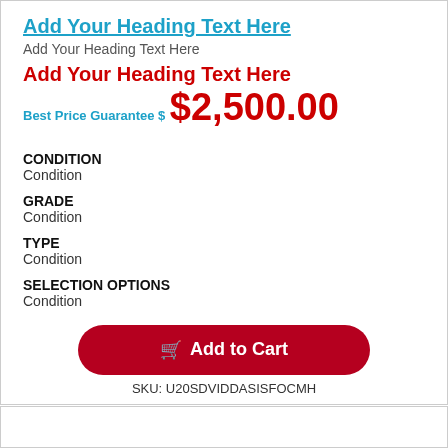Add Your Heading Text Here
Add Your Heading Text Here
Add Your Heading Text Here
Best Price Guarantee $
$2,500.00
CONDITION
Condition
GRADE
Condition
TYPE
Condition
SELECTION OPTIONS
Condition
Add to Cart
SKU: U20SDVIDDASISFOCMH